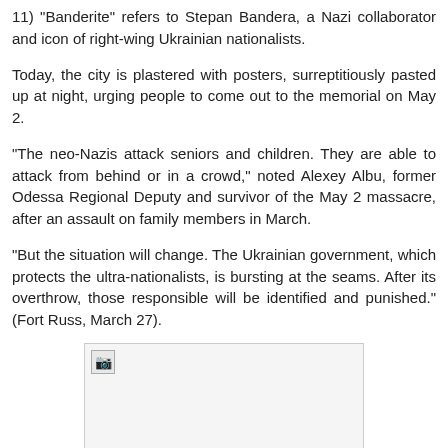11) "Banderite" refers to Stepan Bandera, a Nazi collaborator and icon of right-wing Ukrainian nationalists.
Today, the city is plastered with posters, surreptitiously pasted up at night, urging people to come out to the memorial on May 2.
“The neo-Nazis attack seniors and children. They are able to attack from behind or in a crowd,” noted Alexey Albu, former Odessa Regional Deputy and survivor of the May 2 massacre, after an assault on family members in March.
“But the situation will change. The Ukrainian government, which protects the ultra-nationalists, is bursting at the seams. After its overthrow, those responsible will be identified and punished.” (Fort Russ, March 27).
[Figure (photo): Broken/missing image placeholder shown as a small icon in the top-left of a light gray bordered rectangle]